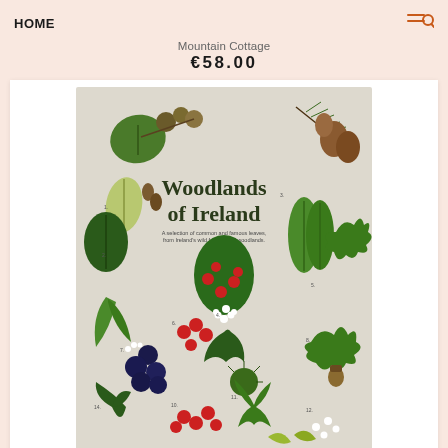HOME
Mountain Cottage
€58.00
[Figure (illustration): A decorative poster showing leaves, berries, cones, and botanical illustrations of Irish woodland trees and plants, titled 'Woodlands of Ireland']